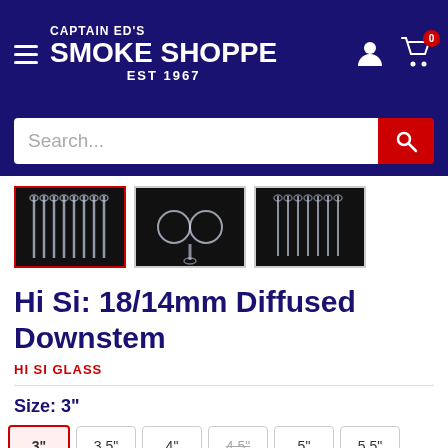Captain Ed's Smoke Shoppe EST 1967
[Figure (screenshot): Search bar with red search button]
[Figure (photo): Three thumbnail images of glass downstems; first is selected with red border]
Hi Si: 18/14mm Diffused Downstem
HI SI GLASS
Size: 3"
3"
3.5"
4"
4.5"
5"
5.5"